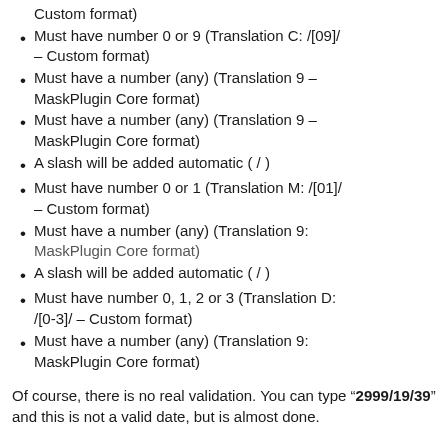Custom format)
Must have number 0 or 9 (Translation C: /[09]/ – Custom format)
Must have a number (any) (Translation 9 – MaskPlugin Core format)
Must have a number (any) (Translation 9 – MaskPlugin Core format)
A slash will be added automatic ( / )
Must have number 0 or 1 (Translation M: /[01]/ – Custom format)
Must have a number (any) (Translation 9: MaskPlugin Core format)
A slash will be added automatic ( / )
Must have number 0, 1, 2 or 3 (Translation D: /[0-3]/ – Custom format)
Must have a number (any) (Translation 9: MaskPlugin Core format)
Of course, there is no real validation. You can type “2999/19/39” and this is not a valid date, but is almost done.